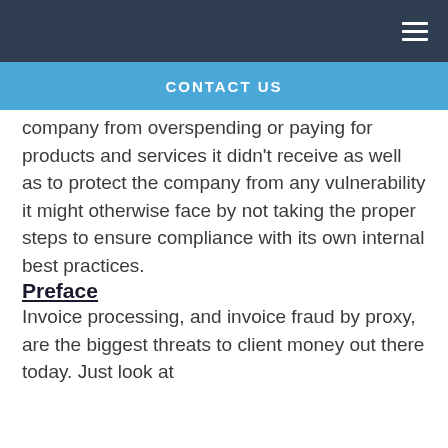CONTACT US
company from overspending or paying for products and services it didn't receive as well as to protect the company from any vulnerability it might otherwise face by not taking the proper steps to ensure compliance with its own internal best practices.
Preface
Invoice processing, and invoice fraud by proxy, are the biggest threats to client money out there today. Just look at